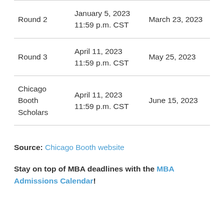|  | Deadline | Decision |
| --- | --- | --- |
| Round 2 | January 5, 2023
11:59 p.m. CST | March 23, 2023 |
| Round 3 | April 11, 2023
11:59 p.m. CST | May 25, 2023 |
| Chicago Booth Scholars | April 11, 2023
11:59 p.m. CST | June 15, 2023 |
Source: Chicago Booth website
Stay on top of MBA deadlines with the MBA Admissions Calendar!